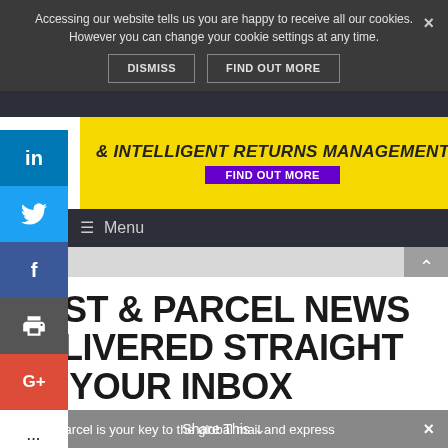Accessing our website tells us you are happy to receive all our cookies. However you can change your cookie settings at any time.
DISMISS   FIND OUT MORE
[Figure (infographic): Yellow advertisement banner: '& INTELLIGENT RETURNS MANAGEMENT' with 'FIND OUT MORE' button and Doddle logo]
Menu
POST & PARCEL NEWS DELIVERED STRAIGHT TO YOUR INBOX
Post & Parcel is your key to the global mail and express